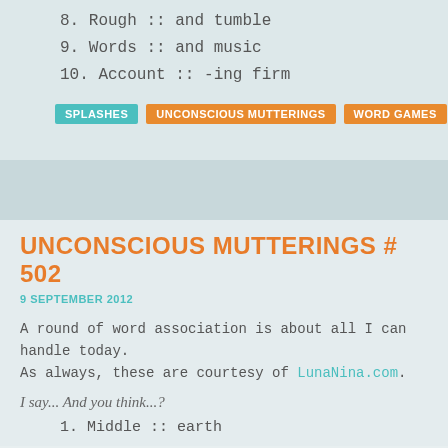8. Rough :: and tumble
9. Words :: and music
10. Account :: -ing firm
SPLASHES  UNCONSCIOUS MUTTERINGS  WORD GAMES
UNCONSCIOUS MUTTERINGS # 502
9 SEPTEMBER 2012
A round of word association is about all I can handle today. As always, these are courtesy of LunaNina.com.
I say... And you think...?
1. Middle :: earth